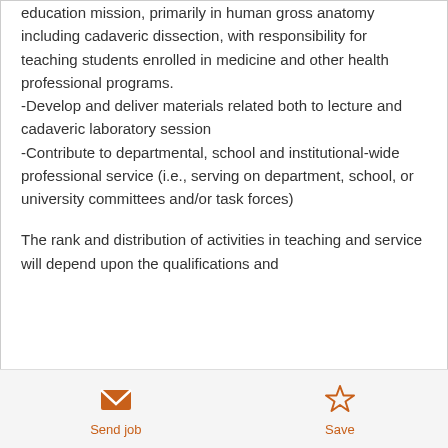education mission, primarily in human gross anatomy including cadaveric dissection, with responsibility for teaching students enrolled in medicine and other health professional programs.
-Develop and deliver materials related both to lecture and cadaveric laboratory session
-Contribute to departmental, school and institutional-wide professional service (i.e., serving on department, school, or university committees and/or task forces)
The rank and distribution of activities in teaching and service will depend upon the qualifications and
[Figure (other): Bottom action bar with Send job (envelope icon) and Save (star icon) buttons in orange]